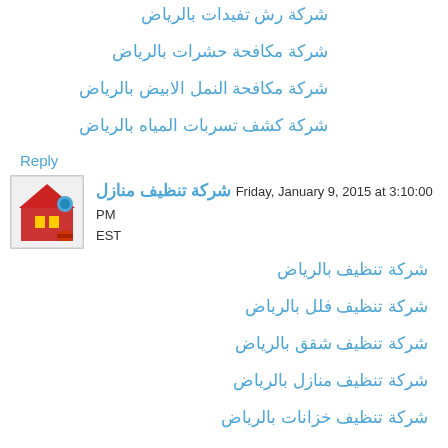شركة رش تفيدات بالرياض
شركة مكافحة حشرات بالرياض
شركة مكافحة النمل الابيض بالرياض
شركة كشف تسربات المياه بالرياض
Reply
شركة تنظيف منازل  Friday, January 9, 2015 at 3:10:00 PM EST
شركة تنظيف بالرياض
شركة تنظيف فلل بالرياض
شركة تنظيف شقق بالرياض
شركة تنظيف منازل بالرياض
شركة تنظيف خزانات بالرياض